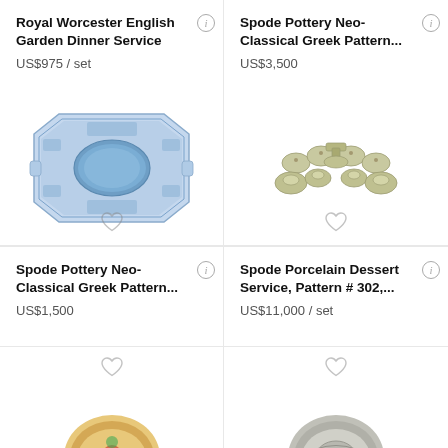Royal Worcester English Garden Dinner Service
US$975 / set
Spode Pottery Neo-Classical Greek Pattern...
US$3,500
[Figure (photo): Blue and white Spode pottery Neo-Classical Greek pattern platter with octagonal shape and relief decoration]
[Figure (photo): Spode Porcelain Dessert Service with green floral pattern pieces arranged in a group]
Spode Pottery Neo-Classical Greek Pattern...
US$1,500
Spode Porcelain Dessert Service, Pattern # 302,...
US$11,000 / set
[Figure (photo): Partial view of a colorful ceramic plate at bottom left]
[Figure (photo): Partial view of a metallic/silver decorative plate at bottom right]